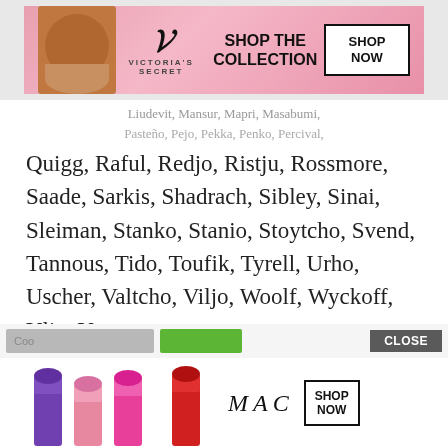[Figure (screenshot): Victoria's Secret advertisement banner with pink background, woman's face, VS logo, 'SHOP THE COLLECTION' text, and 'SHOP NOW' button]
Liudevit, Mansur, Mapri, Masabumi, Pasteño, Pejo, Pekka, Penko, Percival, Quigg, Raful, Redjo, Ristju, Rossmore, Saade, Sarkis, Shadrach, Sibley, Sinai, Sleiman, Stanko, Stanio, Stoytcho, Svend, Tannous, Tido, Toufik, Tyrell, Urho, Uscher, Valtcho, Viljo, Woolf, Wyckoff, Ylio, Yoto
We use cookies on our website to give you the most relevant experience by remembering your preferences and repeat visits. By clicking “Accept”, you consent to the use of ALL the cookies.
Do not sell my personal information.
[Figure (screenshot): MAC cosmetics advertisement banner with lipsticks in purple, pink and red colors, MAC logo, and 'SHOP NOW' button]